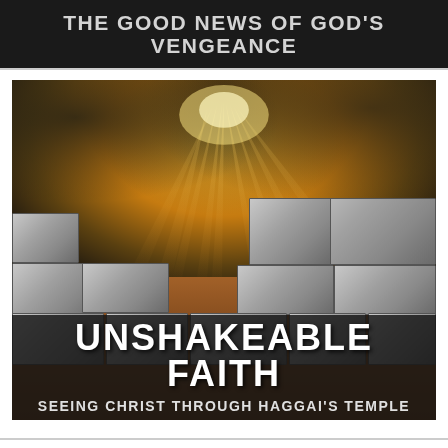THE GOOD NEWS OF GOD'S VENGEANCE
[Figure (illustration): A dramatic image showing stone/brick wall in the foreground with golden light rays breaking through dark clouds in the background sky. Overlaid text reads 'UNSHAKEABLE FAITH' in large white bold letters, and below 'SEEING CHRIST THROUGH HAGGAI'S TEMPLE' in smaller bold white text.]